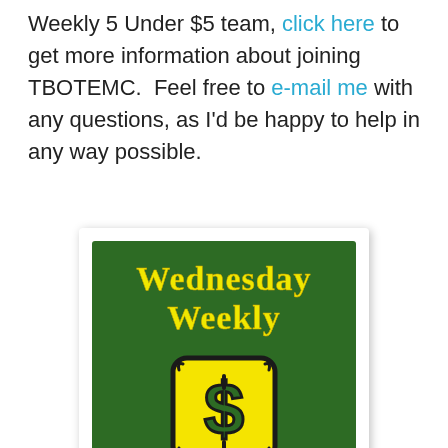Weekly 5 Under $5 team, click here to get more information about joining TBOTEMC.  Feel free to e-mail me with any questions, as I'd be happy to help in any way possible.
[Figure (illustration): Green square image with yellow bold text reading 'Wednesday Weekly' at top, a cartoon yellow dollar sign icon in the center, and '5 Under $5' at the bottom in yellow text.]